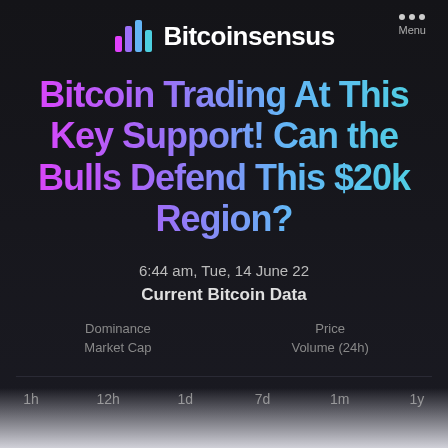Bitcoinsensus  Menu
Bitcoin Trading At This Key Support! Can the Bulls Defend This $20k Region?
6:44 am, Tue, 14 June 22
Current Bitcoin Data
| Dominance | Price |
| --- | --- |
| Market Cap | Volume (24h) |
1h  12h  1d  7d  1m  1y